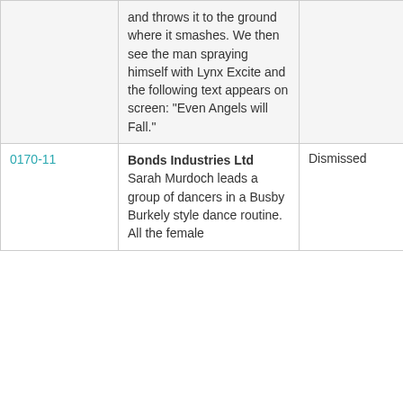| ID | Company / Description | Status | Category |
| --- | --- | --- | --- |
|  | and throws it to the ground where it smashes. We then see the man spraying himself with Lynx Excite and the following text appears on screen: "Even Angels will Fall." |  |  |
| 0170-11 | Bonds Industries Ltd
Sarah Murdoch leads a group of dancers in a Busby Burkely style dance routine. All the female | Dismissed | Clothing |